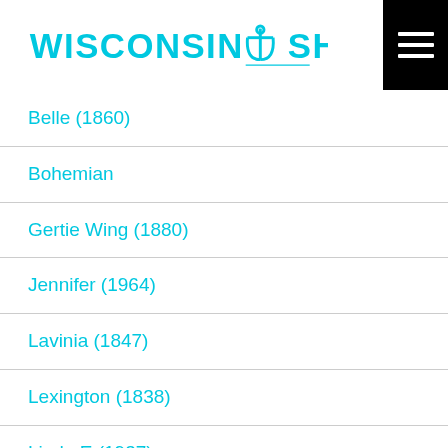WISCONSIN SHIPWRECKS
Belle (1860)
Bohemian
Gertie Wing (1880)
Jennifer (1964)
Lavinia (1847)
Lexington (1838)
Linda E (1937)
Mahoning (1847)
Mars (1855)